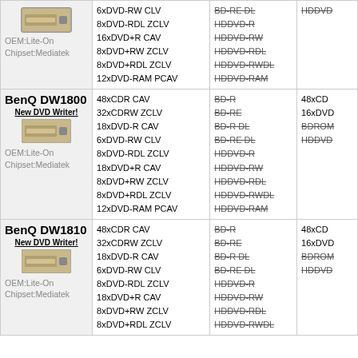| Drive | Write Speeds | Unsupported | Supported |
| --- | --- | --- | --- |
| OEM:Lite-On
Chipset:Mediatek | 6xDVD-RW CLV
8xDVD-RDL ZCLV
16xDVD+R CAV
8xDVD+RW ZCLV
8xDVD+RDL ZCLV
12xDVD-RAM PCAV | BD-RE DL
HDDVD-R
HDDVD-RW
HDDVD-RDL
HDDVD-RWDL
HDDVD-RAM | HDDVD |
| BenQ DW1800
New DVD Writer!
OEM:Lite-On
Chipset:Mediatek | 48xCDR CAV
32xCDRW ZCLV
18xDVD-R CAV
6xDVD-RW CLV
8xDVD-RDL ZCLV
18xDVD+R CAV
8xDVD+RW ZCLV
8xDVD+RDL ZCLV
12xDVD-RAM PCAV | BD-R
BD-RE
BD-R DL
BD-RE DL
HDDVD-R
HDDVD-RW
HDDVD-RDL
HDDVD-RWDL
HDDVD-RAM | 48xCD
16xDVD
BDROM
HDDVD |
| BenQ DW1810
New DVD Writer!
OEM:Lite-On
Chipset:Mediatek | 48xCDR CAV
32xCDRW ZCLV
18xDVD-R CAV
6xDVD-RW CLV
8xDVD-RDL ZCLV
18xDVD+R CAV
8xDVD+RW ZCLV
8xDVD+RDL ZCLV | BD-R
BD-RE
BD-R DL
BD-RE DL
HDDVD-R
HDDVD-RW
HDDVD-RDL
HDDVD-RWDL | 48xCD
16xDVD
BDROM
HDDVD |